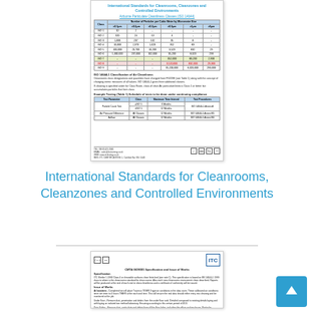[Figure (other): Thumbnail of a document titled 'International Standards for Cleanrooms, Cleanzones and Controlled Environments' showing ISO particulate cleanliness classes table and additional tables.]
International Standards for Cleanrooms, Cleanzones and Controlled Environments
[Figure (other): Thumbnail of a second page showing ITC logo and text about CMTA ISO9001 Specification and Issue of Works.]